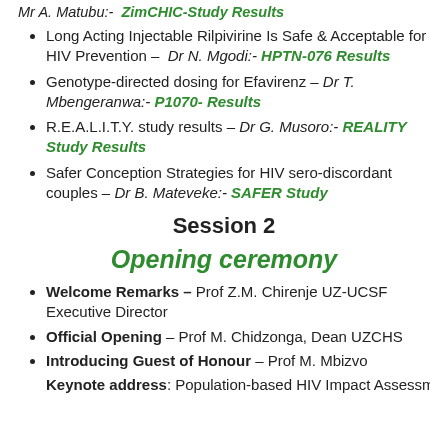Mr A. Matubu:- ZimCHIC-Study Results
Long Acting Injectable Rilpivirine Is Safe & Acceptable for HIV Prevention – Dr N. Mgodi:- HPTN-076 Results
Genotype-directed dosing for Efavirenz – Dr T. Mbengeranwa:- P1070- Results
R.E.A.L.I.T.Y. study results – Dr G. Musoro:- REALITY Study Results
Safer Conception Strategies for HIV sero-discordant couples – Dr B. Mateveke:- SAFER Study
Session 2
Opening ceremony
Welcome Remarks – Prof Z.M. Chirenje UZ-UCSF Executive Director
Official Opening – Prof M. Chidzonga, Dean UZCHS
Introducing Guest of Honour – Prof M. Mbizvo
Keynote address: Population-based HIV Impact Assessments (PHIAs) – Dr J.E. Justman: PHIA Project 3...